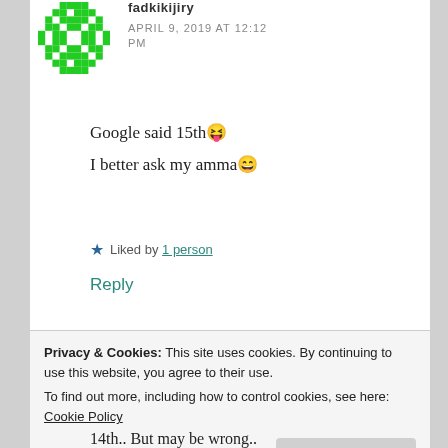[Figure (illustration): Green pixelated avatar/identicon for user 'fadkikijiry']
fadkikijiry
APRIL 9, 2019 AT 12:12 PM
Google said 15th 😜
I better ask my amma 😄
★ Liked by 1 person
Reply
Privacy & Cookies: This site uses cookies. By continuing to use this website, you agree to their use.
To find out more, including how to control cookies, see here: Cookie Policy
Close and accept
14th.. But may be wrong..